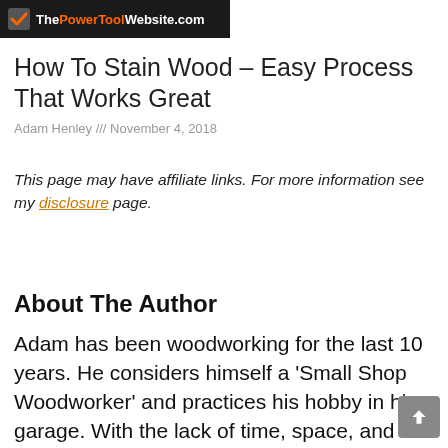[Figure (logo): ThePowerToolWebsite.com logo with checkmark on dark background and orange/white text]
How To Stain Wood – Easy Process That Works Great
Adam Henley /// November 4, 2018
This page may have affiliate links. For more information see my disclosure page.
About The Author
Adam has been woodworking for the last 10 years. He considers himself a 'Small Shop Woodworker' and practices his hobby in his garage. With the lack of time, space, and proper tools, he always finds ways to get great results without over-complicating